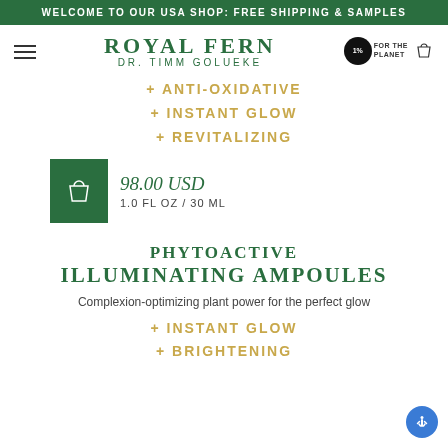WELCOME TO OUR USA SHOP: FREE SHIPPING & SAMPLES
ROYAL FERN
DR. TIMM GOLUEKE
+ ANTI-OXIDATIVE
+ INSTANT GLOW
+ REVITALIZING
98.00 USD
1.0 FL OZ / 30 ML
PHYTOACTIVE ILLUMINATING AMPOULES
Complexion-optimizing plant power for the perfect glow
+ INSTANT GLOW
+ BRIGHTENING